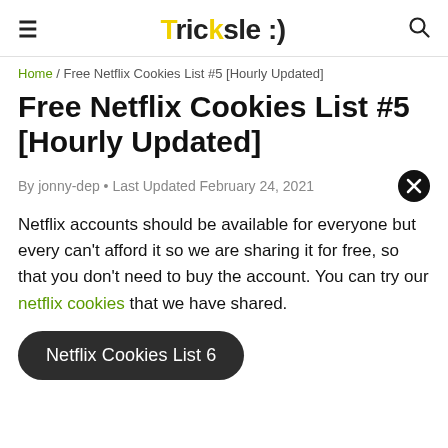≡  Tricksle :)  🔍
Home / Free Netflix Cookies List #5 [Hourly Updated]
Free Netflix Cookies List #5 [Hourly Updated]
By jonny-dep • Last Updated February 24, 2021
Netflix accounts should be available for everyone but every can't afford it so we are sharing it for free, so that you don't need to buy the account. You can try our netflix cookies that we have shared.
Netflix Cookies List 6